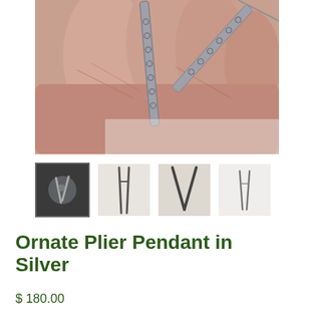[Figure (photo): Close-up photo of a hand holding a silver ornate plier pendant with decorative swirl/scroll patterns etched into the metal, showing two arms of the plier shape against a light background.]
[Figure (photo): Thumbnail 1: Small image of the ornate plier pendant in a hand, showing full pendant view with dark background.]
[Figure (photo): Thumbnail 2: Small image of the ornate plier pendant close-up showing the decorative texture against a white/light background.]
[Figure (photo): Thumbnail 3: Small image showing the V-shape of the plier pendant arms detail.]
[Figure (photo): Thumbnail 4: Small image showing full pendant shape against white background.]
Ornate Plier Pendant in Silver
$ 180.00